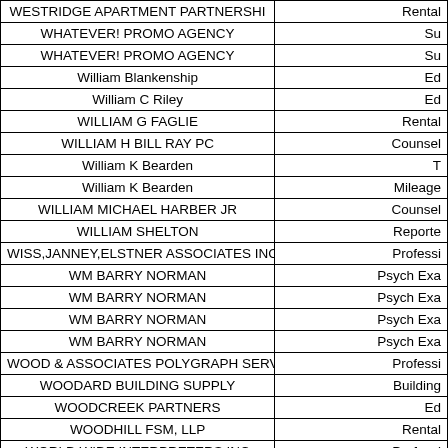| Name | Type |
| --- | --- |
| WESTRIDGE APARTMENT PARTNERSHI | Rental |
| WHATEVER! PROMO AGENCY | Su |
| WHATEVER! PROMO AGENCY | Su |
| William Blankenship | Ed |
| William C Riley | Ed |
| WILLIAM G FAGLIE | Rental |
| WILLIAM H BILL RAY PC | Counsel |
| William K Bearden | T |
| William K Bearden | Mileage |
| WILLIAM MICHAEL HARBER JR | Counsel |
| WILLIAM SHELTON | Reporte |
| WISS,JANNEY,ELSTNER ASSOCIATES INC | Professi |
| WM BARRY NORMAN | Psych Exa |
| WM BARRY NORMAN | Psych Exa |
| WM BARRY NORMAN | Psych Exa |
| WM BARRY NORMAN | Psych Exa |
| WOOD & ASSOCIATES POLYGRAPH SERVICE | Professi |
| WOODARD BUILDING SUPPLY | Building |
| WOODCREEK PARTNERS | Ed |
| WOODHILL FSM, LLP | Rental |
| WORLD WIDE INTERPRETERS INC | Professi |
| WORLD WIDE INTERPRETERS INC | Professi |
| WRIGHT ASPHALT PRODUCTS CO | Asph |